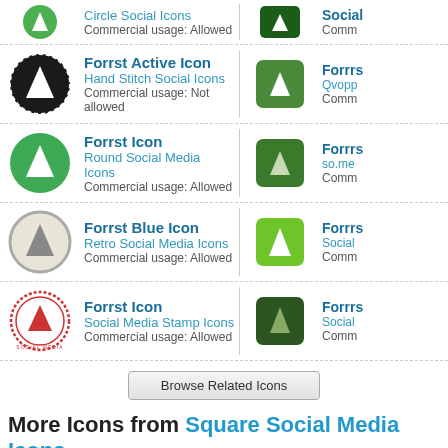[Figure (illustration): Forrst icon - Hand Stitch Social Icons, black circle with white tree/mountain triangle, hand-stitched border]
Forrst Active Icon
Hand Stitch Social Icons
Commercial usage: Not allowed
[Figure (illustration): Forrst icon - green square with white tree triangle]
Forrrs...
Qvopp...
Comm...
[Figure (illustration): Forrst icon - green circle with white tree triangle]
Forrst Icon
Round Social Media Icons
Commercial usage: Allowed
[Figure (illustration): Forrst icon - darker green square with tree triangle]
Forrrs...
so.me...
Comm...
[Figure (illustration): Forrst Blue Icon - grey circle outline with beige/cream fill and grey tree triangle]
Forrst Blue Icon
Retro Social Media Icons
Commercial usage: Allowed
[Figure (illustration): Forrst icon - bright green square with white tree triangle]
Forrrs...
Social...
Comm...
[Figure (illustration): Forrst icon - red circular stamp style with red tree triangle]
Forrst Icon
Social Media Stamp Icons
Commercial usage: Allowed
[Figure (illustration): Forrst icon - dark green square with tree triangle]
Forrrs...
Social...
Comm...
Browse Related Icons
More Icons from Square Social Media Icons
[Figure (illustration): Evernote icon - green square with white elephant/note icon]
Evernote Icon
[Figure (illustration): Dropbox icon - blue square with white dropbox logo]
Dropbox...